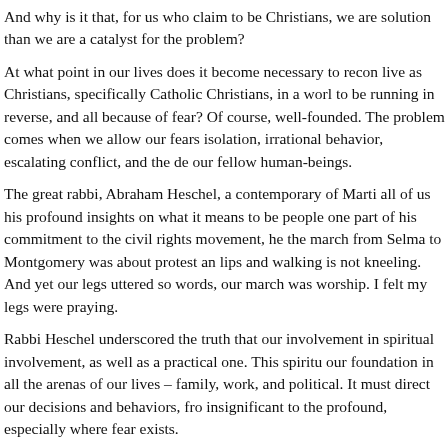And why is it that, for us who claim to be Christians, we are solution than we are a catalyst for the problem?
At what point in our lives does it become necessary to recon live as Christians, specifically Catholic Christians, in a worl to be running in reverse, and all because of fear? Of course, well-founded. The problem comes when we allow our fears isolation, irrational behavior, escalating conflict, and the de our fellow human-beings.
The great rabbi, Abraham Heschel, a contemporary of Marti all of us his profound insights on what it means to be people one part of his commitment to the civil rights movement, he the march from Selma to Montgomery was about protest an lips and walking is not kneeling. And yet our legs uttered so words, our march was worship. I felt my legs were praying.
Rabbi Heschel underscored the truth that our involvement in spiritual involvement, as well as a practical one. This spiritu our foundation in all the arenas of our lives – family, work, and political. It must direct our decisions and behaviors, fro insignificant to the profound, especially where fear exists.